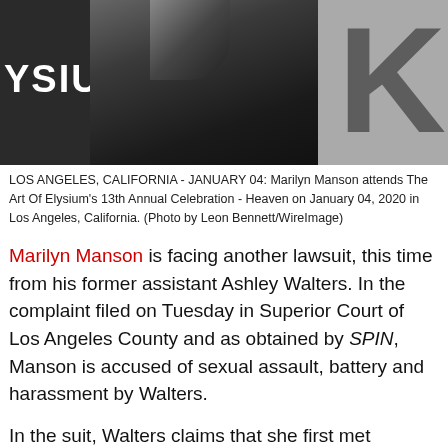[Figure (photo): Black and white photo of a person in a leather jacket, with partial text 'YSIUM' visible on the left and large letter 'K' on the right background]
LOS ANGELES, CALIFORNIA - JANUARY 04: Marilyn Manson attends The Art Of Elysium's 13th Annual Celebration - Heaven on January 04, 2020 in Los Angeles, California. (Photo by Leon Bennett/WireImage)
Marilyn Manson is facing another lawsuit, this time from his former assistant Ashley Walters. In the complaint filed on Tuesday in Superior Court of Los Angeles County and as obtained by SPIN, Manson is accused of sexual assault, battery and harassment by Walters.
In the suit, Walters claims that she first met Manson in 2010 through MySpace when she was an aspiring photographer. According to the suit, the first time the two